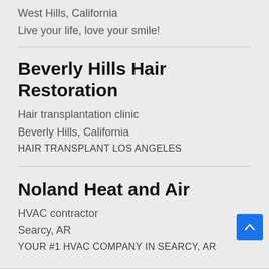West Hills, California
Live your life, love your smile!
Beverly Hills Hair Restoration
Hair transplantation clinic
Beverly Hills, California
HAIR TRANSPLANT LOS ANGELES
Noland Heat and Air
HVAC contractor
Searcy, AR
YOUR #1 HVAC COMPANY IN SEARCY, AR